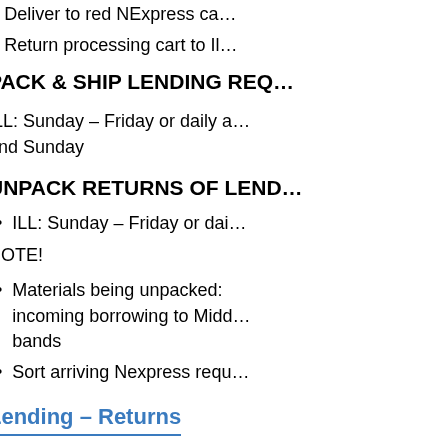Deliver to red NExpress ca…
Return processing cart to IL…
PACK & SHIP LENDING REQ…
ILL: Sunday – Friday or daily a… and Sunday
UNPACK RETURNS OF LEND…
ILL: Sunday – Friday or dai…
NOTE!
Materials being unpacked: incoming borrowing to Midd… bands
Sort arriving Nexpress requ…
Lending – Returns
ILL - Unpack and sort (boxes c… Midd and returns to Midd)
Check in returns ILL Lending… Circ returns area on "Nexpress…"